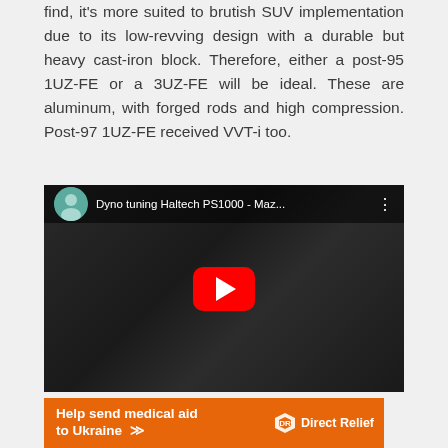find, it's more suited to brutish SUV implementation due to its low-revving design with a durable but heavy cast-iron block. Therefore, either a post-95 1UZ-FE or a 3UZ-FE will be ideal. These are aluminum, with forged rods and high compression. Post-97 1UZ-FE received VVT-i too.
[Figure (screenshot): YouTube video thumbnail showing 'Dyno tuning Haltech PS1000 - Maz...' with a dark car with hood open, YouTube play button overlay in center]
[Figure (infographic): Orange advertisement banner reading 'Help send medical aid to Ukraine >>' with Direct Relief logo on the right]